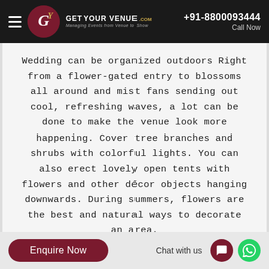GET YOUR VENUE .COM — Managing Events from Venue to Show | +91-8800093444 | Call Now
Wedding can be organized outdoors Right from a flower-gated entry to blossoms all around and mist fans sending out cool, refreshing waves, a lot can be done to make the venue look more happening. Cover tree branches and shrubs with colorful lights. You can also erect lovely open tents with flowers and other décor objects hanging downwards. During summers, flowers are the best and natural ways to decorate an area.
Enquire Now | Chat with us